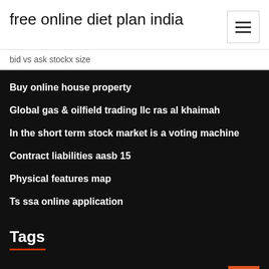free online diet plan india
bid vs ask stockx size
Buy online house property
Global gas & oilfield trading llc ras al khaimah
In the short term stock market is a voting machine
Contract liabilities aasb 15
Physical features map
Ts ssa online application
Tags
Future finance oak forest il 60452
How to make an organizational chart in excel 2007